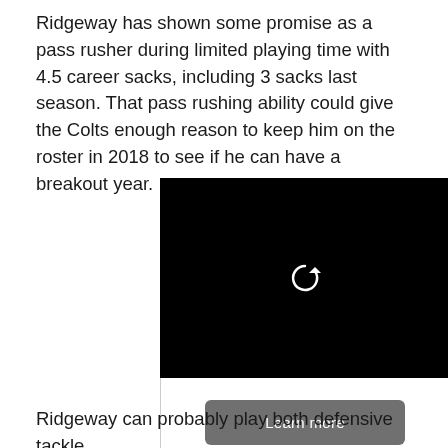Ridgeway has shown some promise as a pass rusher during limited playing time with 4.5 career sacks, including 3 sacks last season. That pass rushing ability could give the Colts enough reason to keep him on the roster in 2018 to see if he can have a breakout year.
[Figure (screenshot): Black video player with a replay/refresh icon in the center, and a 'Learn more' button below on a white background with a light border.]
Ridgeway can probably play both defensive tackle